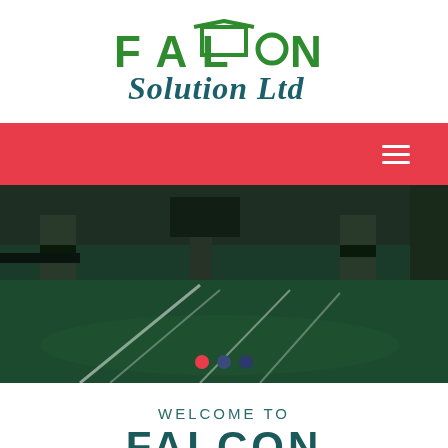[Figure (logo): Falcon Solution Ltd logo with green house icon and stylized green/teal text]
[Figure (other): Red navigation bar with white hamburger menu icon on the right]
[Figure (photo): Interior photo of a parking garage or industrial floor with green epoxy coating, pillars with dark stripes, and white lane markings. Three dot pagination indicators at the bottom: red, dark blue, dark blue.]
WELCOME TO
FALCON SOLUTION LTD